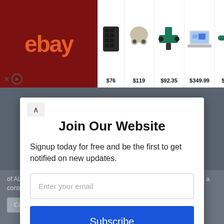[Figure (screenshot): eBay advertisement banner showing products with prices: speaker $76, wireless earbuds $119, power tools $92.35, laptop $349.99, cordless tool $62.99, laptop $499]
Join Our Website
Signup today for free and be the first to get notified on new updates.
Enter your email
Subscribe
powered by MailMunch
of ALL the cookies. However, you may visit "Cookie Settings" to provide a controlled consent.
Cookie Settings
Accept All